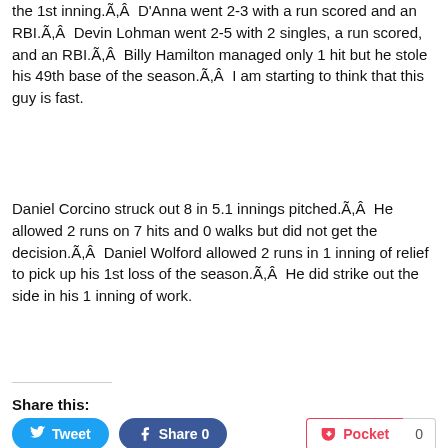the 1st inning.Ã,Â  D'Anna went 2-3 with a run scored and an RBI.Ã,Â  Devin Lohman went 2-5 with 2 singles, a run scored, and an RBI.Ã,Â  Billy Hamilton managed only 1 hit but he stole his 49th base of the season.Ã,Â  I am starting to think that this guy is fast.
Daniel Corcino struck out 8 in 5.1 innings pitched.Ã,Â  He allowed 2 runs on 7 hits and 0 walks but did not get the decision.Ã,Â  Daniel Wolford allowed 2 runs in 1 inning of relief to pick up his 1st loss of the season.Ã,Â  He did strike out the side in his 1 inning of work.
Share this:
[Figure (other): Tweet button, Share 0 button, Pocket button with count 0]